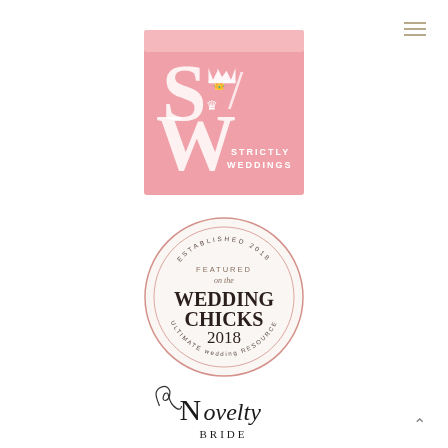[Figure (logo): Strictly Weddings logo — pink square background with large S/W lettermark and crown, text STRICTLY WEDDINGS below]
[Figure (logo): Wedding Chicks 2018 badge — circular badge with text: ESTABLISHED 2018, FEATURED on the WEDDING CHICKS 2018, ULTIMATE wedding RESOURCE]
[Figure (logo): Novelty Bride logo — decorative script/serif text reading Novelty with swash flourishes, and BRIDE below]